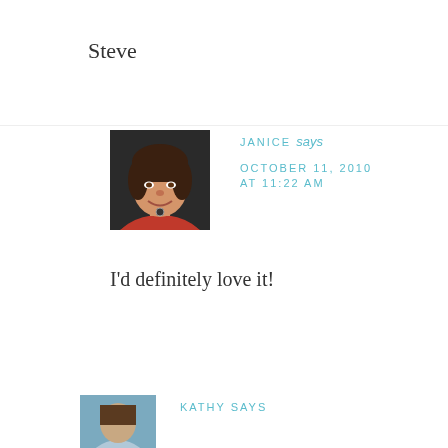Steve
[Figure (photo): Portrait photo of a woman with short dark hair wearing a red top and necklace, against a dark background]
JANICE says
OCTOBER 11, 2010
AT 11:22 AM
I'd definitely love it!
[Figure (photo): Partial photo of another person, cut off at bottom of page]
KATHY says